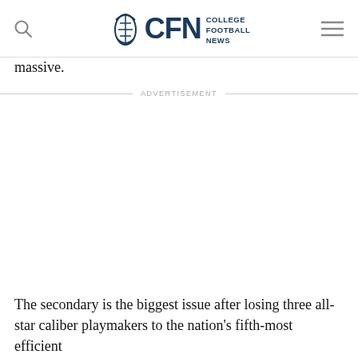CFN COLLEGE FOOTBALL NEWS
massive.
ADVERTISEMENT
The secondary is the biggest issue after losing three all-star caliber playmakers to the nation's fifth-most efficient